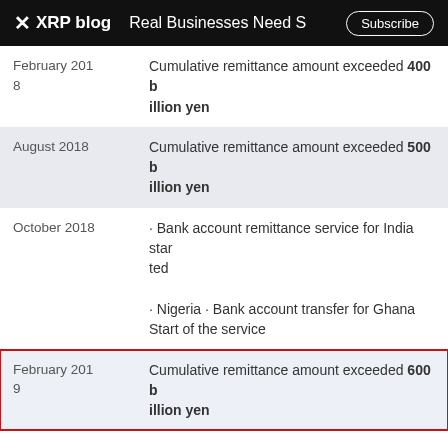XRP blog   Real Businesses Need S   Subscribe
| February 2018 | Cumulative remittance amount exceeded 400 billion yen |
| August 2018 | Cumulative remittance amount exceeded 500 billion yen |
| October 2018 | · Bank account remittance service for India started
· Nigeria · Bank account transfer for Ghana Start of the service |
| February 2019 | Cumulative remittance amount exceeded 600 billion yen |
The report doesn't go into detail about the specifics, but